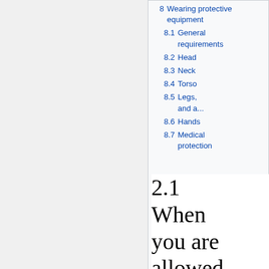8 Wearing protective equipment
8.1 General requirements
8.2 Head
8.3 Neck
8.4 Torso
8.5 Legs, and a...
8.6 Hands
8.7 Medical protection
2.1 When you are allowed to fence